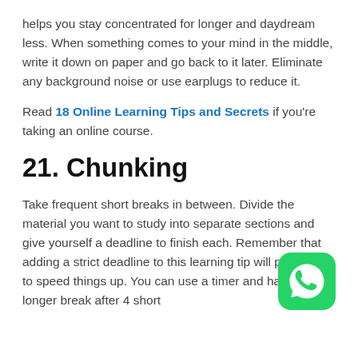helps you stay concentrated for longer and daydream less. When something comes to your mind in the middle, write it down on paper and go back to it later. Eliminate any background noise or use earplugs to reduce it.
Read 18 Online Learning Tips and Secrets if you're taking an online course.
21. Chunking
Take frequent short breaks in between. Divide the material you want to study into separate sections and give yourself a deadline to finish each. Remember that adding a strict deadline to this learning tip will push you to speed things up. You can use a timer and have a longer break after 4 short